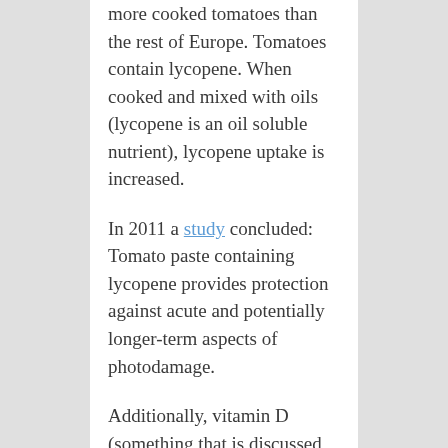more cooked tomatoes than the rest of Europe. Tomatoes contain lycopene. When cooked and mixed with oils (lycopene is an oil soluble nutrient), lycopene uptake is increased.
In 2011 a study concluded: Tomato paste containing lycopene provides protection against acute and potentially longer-term aspects of photodamage.
Additionally, vitamin D (something that is discussed all over our web site and it seems